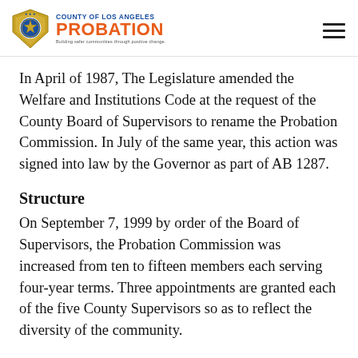County of Los Angeles Probation — Building safer communities through positive change.
In April of 1987, The Legislature amended the Welfare and Institutions Code at the request of the County Board of Supervisors to rename the Probation Commission. In July of the same year, this action was signed into law by the Governor as part of AB 1287.
Structure
On September 7, 1999 by order of the Board of Supervisors, the Probation Commission was increased from ten to fifteen members each serving four-year terms. Three appointments are granted each of the five County Supervisors so as to reflect the diversity of the community.